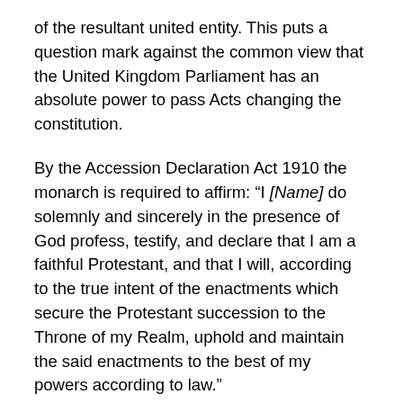of the resultant united entity. This puts a question mark against the common view that the United Kingdom Parliament has an absolute power to pass Acts changing the constitution.
By the Accession Declaration Act 1910 the monarch is required to affirm: “I [Name] do solemnly and sincerely in the presence of God profess, testify, and declare that I am a faithful Protestant, and that I will, according to the true intent of the enactments which secure the Protestant succession to the Throne of my Realm, uphold and maintain the said enactments to the best of my powers according to law.”
Some who recognise the Protestant nature of the Constitution of the United Kingdom may yet query why this should prevent the Pope from receiving a state welcome, similar to that accorded other heads of state